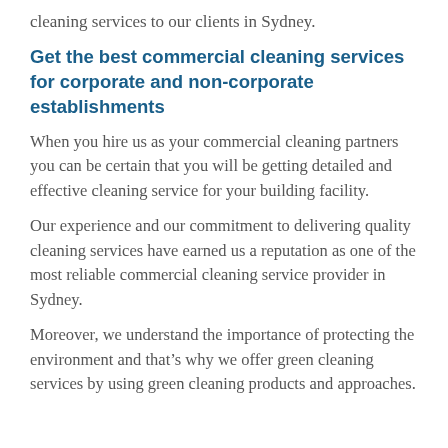cleaning services to our clients in Sydney.
Get the best commercial cleaning services for corporate and non-corporate establishments
When you hire us as your commercial cleaning partners you can be certain that you will be getting detailed and effective cleaning service for your building facility.
Our experience and our commitment to delivering quality cleaning services have earned us a reputation as one of the most reliable commercial cleaning service provider in Sydney.
Moreover, we understand the importance of protecting the environment and that’s why we offer green cleaning services by using green cleaning products and approaches.